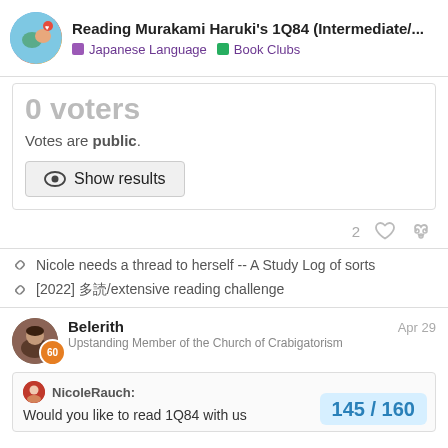Reading Murakami Haruki's 1Q84 (Intermediate/... | Japanese Language | Book Clubs
0 voters
Votes are public.
Show results
2 likes
Nicole needs a thread to herself -- A Study Log of sorts
[2022] 多読/extensive reading challenge
Belerith Apr 29
Upstanding Member of the Church of Crabigatorism
NicoleRauch:
Would you like to read 1Q84 with us
145 / 160